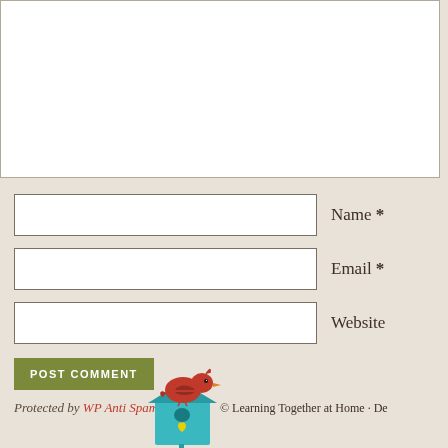(comment textarea - empty)
Name *
Email *
Website
POST COMMENT
Protected by WP Anti Spam
[Figure (illustration): A red cardinal bird perched on top of a teal birdhouse with a yellow heart]
© Learning Together at Home · De